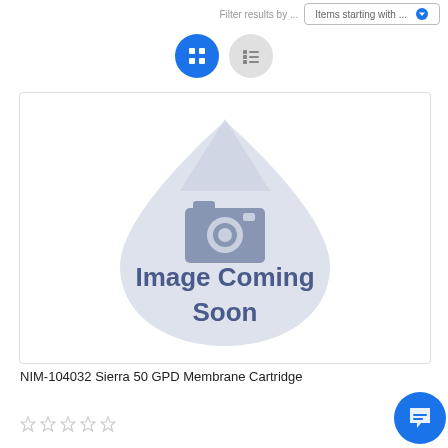[Figure (screenshot): Filter results bar with dropdown showing 'Items starting with ...' and a blue arrow indicator]
[Figure (illustration): Grid view and list view toggle buttons; grid button is active (blue), list button is grey]
[Figure (photo): Product placeholder image showing a water-drop shape with a camera icon and text 'Image Coming Soon' in blue/grey]
NIM-104032 Sierra 50 GPD Membrane Cartridge
[Figure (illustration): Five empty star rating icons]